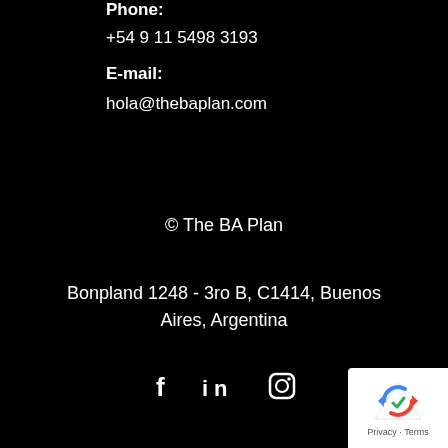Phone:
+54 9 11 5498 3193
E-mail:
hola@thebaplan.com
© The BA Plan
Bonpland 1248 - 3ro B, C1414, Buenos Aires, Argentina
[Figure (infographic): Social media icons: Facebook (f), LinkedIn (in), Instagram (camera icon)]
[Figure (logo): reCAPTCHA badge with Privacy and Terms text]